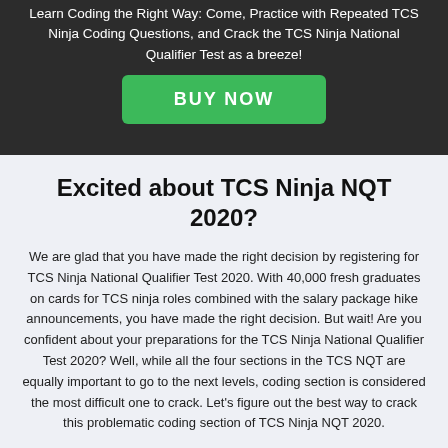Learn Coding the Right Way: Come, Practice with Repeated TCS Ninja Coding Questions, and Crack the TCS Ninja National Qualifier Test as a breeze!
[Figure (other): Green BUY NOW button on dark background]
Excited about TCS Ninja NQT 2020?
We are glad that you have made the right decision by registering for TCS Ninja National Qualifier Test 2020. With 40,000 fresh graduates on cards for TCS ninja roles combined with the salary package hike announcements, you have made the right decision. But wait! Are you confident about your preparations for the TCS Ninja National Qualifier Test 2020? Well, while all the four sections in the TCS NQT are equally important to go to the next levels, coding section is considered the most difficult one to crack. Let's figure out the best way to crack this problematic coding section of TCS Ninja NQT 2020.
Effective Ways to Ace TCS Ninja...